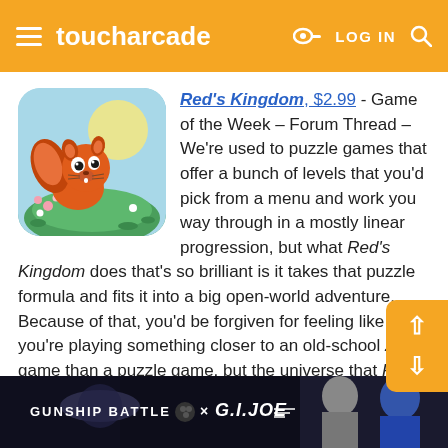toucharcade  LOG IN
[Figure (screenshot): TouchArcade website screenshot showing article about Red's Kingdom game with app icon, navigation header in orange, and advertisement banner at bottom]
Red's Kingdom, $2.99 - Game of the Week – Forum Thread – We're used to puzzle games that offer a bunch of levels that you'd pick from a menu and work you way through in a mostly linear progression, but what Red's Kingdom does that's so brilliant is it takes that puzzle formula and fits it into a big open-world adventure. Because of that, you'd be forgiven for feeling like you're playing something closer to an old-school Zelda game than a puzzle game, but the universe that Red's Kingdom creates and its likeable characters and colorful art style ele...
[Figure (photo): Gunship Battle x G.I. Joe advertisement banner with dark background showing armored characters]
GUNSHIP BATTLE × G.I.JOE